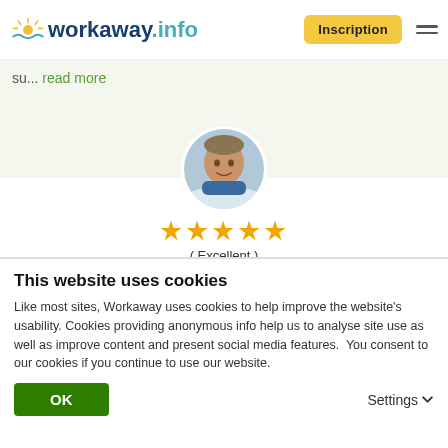workaway.info — Inscription
su... read more
[Figure (photo): Circular profile photo of a person wearing a blue scarf outdoors in a winter/snowy landscape]
★★★★★ (Excellent )
27.04.2022
Laissé par l'hôte pour le workawayer (Andrew)
Andrew es un individuo muy trabajador, cariñoso y muy
This website uses cookies
Like most sites, Workaway uses cookies to help improve the website's usability. Cookies providing anonymous info help us to analyse site use as well as improve content and present social media features.  You consent to our cookies if you continue to use our website.
OK    Settings